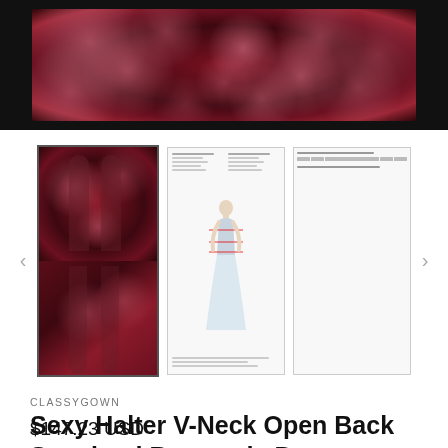[Figure (photo): Close-up photo of dark burgundy/wine colored sequined fabric, sparkly texture filling the frame]
[Figure (photo): Three product thumbnail images: first shows prom dresses in burgundy sequined fabric (two views), second shows size/measurement chart with a woman in white gown, third shows a size chart table]
CLASSYGOWN
Sexy Halter V-Neck Open Back Sequined Burgundy Prom Dresses Long Evening Gowns cg15963
$147.23 USD